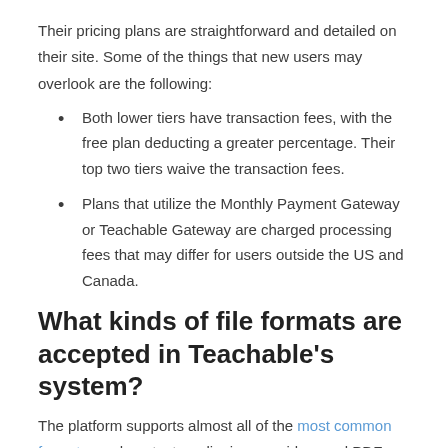Their pricing plans are straightforward and detailed on their site. Some of the things that new users may overlook are the following:
Both lower tiers have transaction fees, with the free plan deducting a greater percentage. Their top two tiers waive the transaction fees.
Plans that utilize the Monthly Payment Gateway or Teachable Gateway are charged processing fees that may differ for users outside the US and Canada.
What kinds of file formats are accepted in Teachable's system?
The platform supports almost all of the most common formats, such as text, audio, image, video, and PDF. They can be uploaded from the computer, or imported from cloud services like Google Drive and Dropbox.